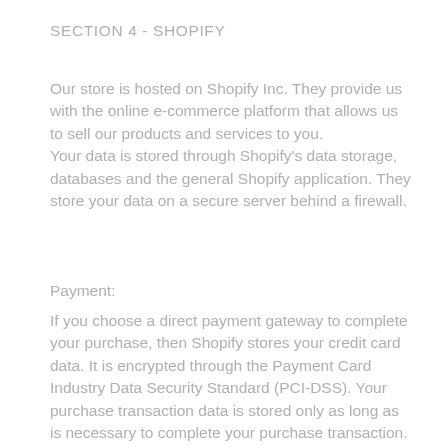SECTION 4 - SHOPIFY
Our store is hosted on Shopify Inc. They provide us with the online e-commerce platform that allows us to sell our products and services to you.
Your data is stored through Shopify’s data storage, databases and the general Shopify application. They store your data on a secure server behind a firewall.
Payment:
If you choose a direct payment gateway to complete your purchase, then Shopify stores your credit card data. It is encrypted through the Payment Card Industry Data Security Standard (PCI-DSS). Your purchase transaction data is stored only as long as is necessary to complete your purchase transaction. After that is complete, your purchase transaction information is deleted.
All direct payment gateways adhere to the standards set by the PCI-DSS as managed by the PCI Security...